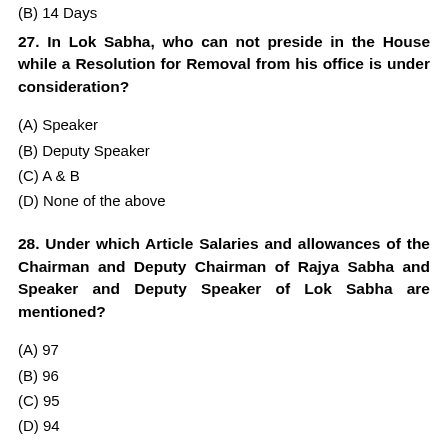(B) 14 Days
27. In Lok Sabha, who can not preside in the House while a Resolution for Removal from his office is under consideration?
(A) Speaker
(B) Deputy Speaker
(C) A & B
(D) None of the above
28. Under which Article Salaries and allowances of the Chairman and Deputy Chairman of Rajya Sabha and Speaker and Deputy Speaker of Lok Sabha are mentioned?
(A) 97
(B) 96
(C) 95
(D) 94